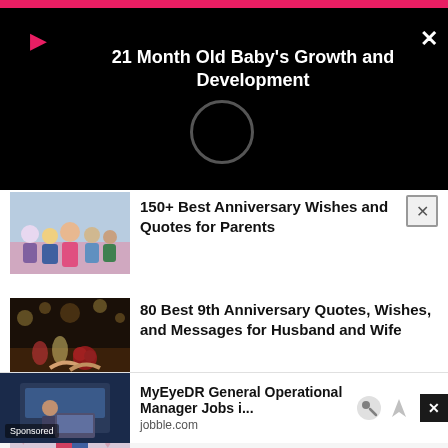[Figure (screenshot): Video notification overlay with black background, pink top bar, play icon, circle loader, and title '21 Month Old Baby's Growth and Development']
21 Month Old Baby's Growth and Development
[Figure (photo): Family group photo thumbnail for anniversary article]
150+ Best Anniversary Wishes and Quotes for Parents
[Figure (photo): Romantic dinner scene with candles and roses thumbnail]
80 Best 9th Anniversary Quotes, Wishes, and Messages for Husband and Wife
[Figure (photo): Couple romantic photo thumbnail]
25 Romantic and Unique Surprise Ideas for Your Husband
[Figure (screenshot): Sponsored ad thumbnail showing person at laptop]
MyEyeDR General Operational Manager Jobs i...
jobble.com
SHOPPING   PARENTING